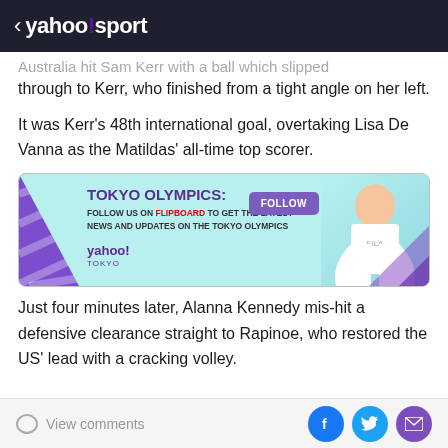< yahoo!sport
Australia hit Sam Kerr with a ball which slipped through to Kerr, who finished from a tight angle on her left.
It was Kerr's 48th international goal, overtaking Lisa De Vanna as the Matildas' all-time top scorer.
[Figure (infographic): Tokyo Olympics advertisement banner: 'TOKYO OLYMPICS: FOLLOW US ON FLIPBOARD TO GET THE LATEST NEWS AND UPDATES ON THE TOKYO OLYMPICS' with a FOLLOW button and a tennis player image, Yahoo! Tokyo branding.]
Just four minutes later, Alanna Kennedy mis-hit a defensive clearance straight to Rapinoe, who restored the US' lead with a cracking volley.
View comments | Facebook | Twitter | Mail